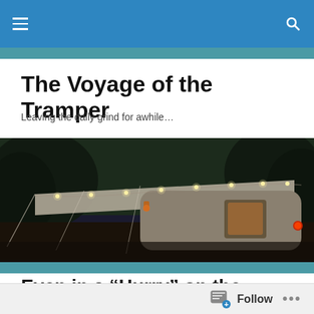The Voyage of the Tramper — navigation bar
The Voyage of the Tramper
Leaving the daily grind for awhile…
[Figure (photo): An old camper/trailer at dusk with string lights hanging from an awning, dark trees in background and glowing lights visible]
Even in a “Hurry” on the Road we TRY to see and DO things
If you pay attention in places like Skyline Drive, VA you'll
Follow